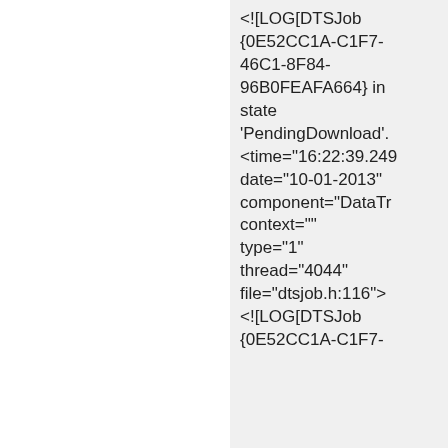[Figure (screenshot): Screenshot of a webpage showing a log/code block on the right side with text: <![ LOG[DTSJob {0E52CC1A-C1F7-46C1-8F84-96B0FEAFA664} in state 'PendingDownload'. <time='16:22:39.249 date='10-01-2013' component='DataTr context='' type='1' thread='4044' file='dtsjob.h:116'> <![LOG[DTSJob {0E52CC1A-C1F7- and a cookie consent banner overlay at the bottom with an ACCEPT button and cookie usage text.]
ACCEPT
This website uses cookies. By continuing to use this site and/or clicking the "Accept" button you are providing consent Quest Software and its affiliates do NOT sell the Personal Data you provide to us either when you register on our websites or